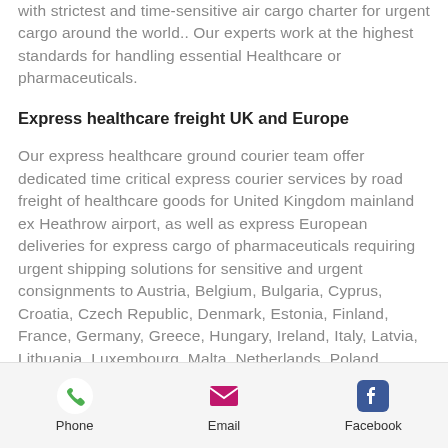with strictest and time-sensitive air cargo charter for urgent cargo around the world.. Our experts work at the highest standards for handling essential Healthcare or pharmaceuticals.
Express healthcare freight UK and Europe
Our express healthcare ground courier team offer dedicated time critical express courier services by road freight of healthcare goods for United Kingdom mainland ex Heathrow airport, as well as express European deliveries for express cargo of pharmaceuticals requiring urgent shipping solutions for sensitive and urgent consignments to Austria, Belgium, Bulgaria, Cyprus, Croatia, Czech Republic, Denmark, Estonia, Finland, France, Germany, Greece, Hungary, Ireland, Italy, Latvia, Lithuania, Luxembourg, Malta, Netherlands, Poland, Portugal, Romania, Slovakia, Slovenia,
Phone | Email | Facebook